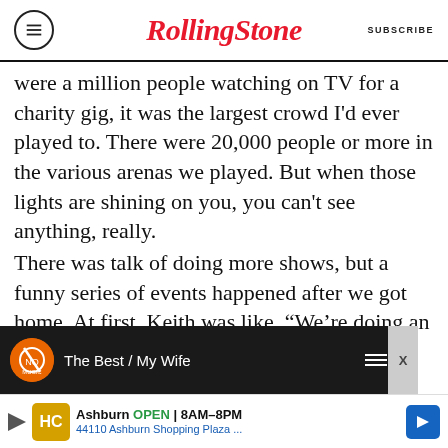RollingStone | SUBSCRIBE
were a million people watching on TV for a charity gig, it was the largest crowd I'd ever played to. There were 20,000 people or more in the various arenas we played. But when those lights are shining on you, you can't see anything, really.
There was talk of doing more shows, but a funny series of events happened after we got home. At first, Keith was like, “We’re doing an ELP reunion tour.” And then Simon was enlisted by Toto, and Joe Walsh was told the Eagles were getting back together, but he had to clean up.
[Figure (screenshot): Video thumbnail showing a dark background with a circular orange logo on the left and text 'The Best / My Wife' with playback controls]
[Figure (infographic): Advertisement banner: Ashburn OPEN 8AM-8PM, 44110 Ashburn Shopping Plaza...]